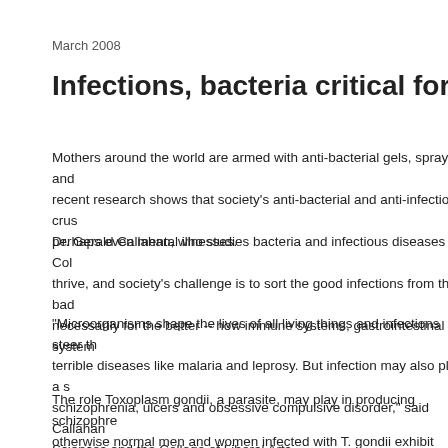March 2008
Infections, bacteria critical for healthy li
Mothers around the world are armed with anti-bacterial gels, sprays and recent research shows that society's anti-bacterial and anti-infection crus perhaps even mental illnesses.
Dr. Gerald Callahan, who studies bacteria and infectious diseases at Col thrive, and society's challenge is to sort the good infections from the bad necessarily for the better -- how immune systems, gastrointestinal system
“Microorganisms shape the lives of all living things and infections steer th terrible diseases like malaria and leprosy. But infection may also play a s schizophrenia, ulcers and obsessive compulsive disorder,” said Callahan Sciences and the College of Liberal Arts.
The role Toxoplasm gondii, a parasite, may play in producing schizophre otherwise normal men and women infected with T. gondii exhibit alteratio and infected men often are more jealous and suspicious.